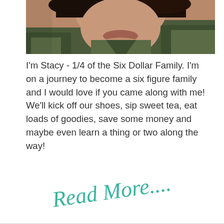[Figure (photo): Close-up photo of a woman wearing a camouflage t-shirt, selfie-style photo cropped at top]
I'm Stacy - 1/4 of the Six Dollar Family. I'm on a journey to become a six figure family and I would love if you came along with me! We'll kick off our shoes, sip sweet tea, eat loads of goodies, save some money and maybe even learn a thing or two along the way!
Read More....